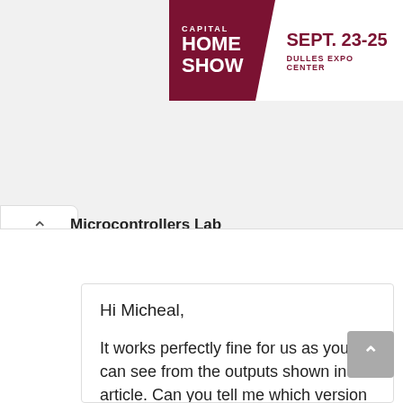[Figure (logo): Capital Home Show advertisement banner: dark red/maroon left panel with 'CAPITAL HOME SHOW' text, right white panel with 'SEPT. 23-25' in maroon and 'DULLES EXPO CENTER' below]
Microcontrollers Lab
May 6, 2021 at 5:52 pm
Hi Micheal,

It works perfectly fine for us as you can see from the outputs shown in the article. Can you tell me which version of Keil vision you are using?
You can try with Keil vision 4. Because in different versions of Keil vision 5,